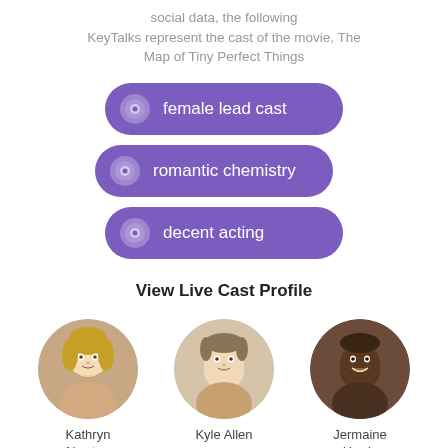social data, the following KeyTalks represent the cast of the movie, The Map of Tiny Perfect Things
[Figure (infographic): Three purple pill-shaped KeyTalk tags: 'female lead cast', 'romantic chemistry', 'decent acting', each with a purple donut icon on the left]
View Live Cast Profile
[Figure (photo): Three circular cast photo portraits: Kathryn Newton, Kyle Allen, Jermaine Harris]
Kathryn Newton
Kyle Allen
Jermaine Harris